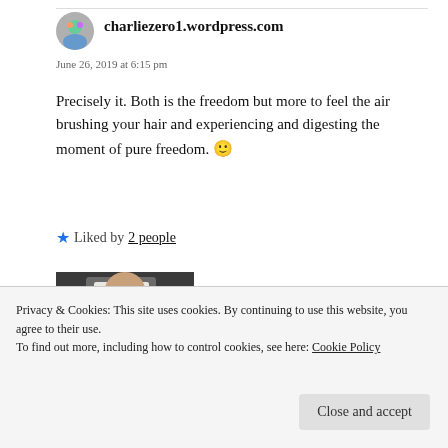[Figure (photo): Small rectangular avatar/profile image placeholder at top left]
charliezero1.wordpress.com
June 26, 2019 at 6:15 pm
Precisely it. Both is the freedom but more to feel the air brushing your hair and experiencing and digesting the moment of pure freedom. 🙂
★ Liked by 2 people
[Figure (photo): Thumbnail image showing a person from behind wearing white shirt]
★ ★ ★ ★ ★
Get the app (blue button, partially visible)
Privacy & Cookies: This site uses cookies. By continuing to use this website, you agree to their use. To find out more, including how to control cookies, see here: Cookie Policy
Close and accept